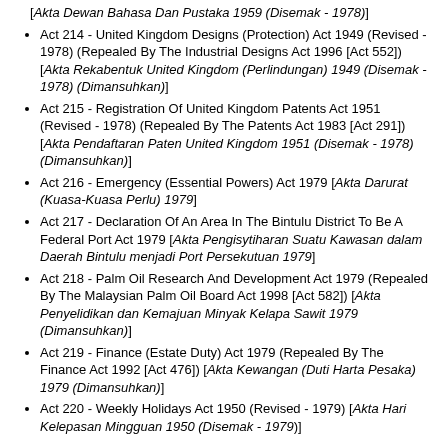[Akta Dewan Bahasa Dan Pustaka 1959 (Disemak - 1978)]
Act 214 - United Kingdom Designs (Protection) Act 1949 (Revised - 1978) (Repealed By The Industrial Designs Act 1996 [Act 552]) [Akta Rekabentuk United Kingdom (Perlindungan) 1949 (Disemak - 1978) (Dimansuhkan)]
Act 215 - Registration Of United Kingdom Patents Act 1951 (Revised - 1978) (Repealed By The Patents Act 1983 [Act 291]) [Akta Pendaftaran Paten United Kingdom 1951 (Disemak - 1978) (Dimansuhkan)]
Act 216 - Emergency (Essential Powers) Act 1979 [Akta Darurat (Kuasa-Kuasa Perlu) 1979]
Act 217 - Declaration Of An Area In The Bintulu District To Be A Federal Port Act 1979 [Akta Pengisytiharan Suatu Kawasan dalam Daerah Bintulu menjadi Port Persekutuan 1979]
Act 218 - Palm Oil Research And Development Act 1979 (Repealed By The Malaysian Palm Oil Board Act 1998 [Act 582]) [Akta Penyelidikan dan Kemajuan Minyak Kelapa Sawit 1979 (Dimansuhkan)]
Act 219 - Finance (Estate Duty) Act 1979 (Repealed By The Finance Act 1992 [Act 476]) [Akta Kewangan (Duti Harta Pesaka) 1979 (Dimansuhkan)]
Act 220 - Weekly Holidays Act 1950 (Revised - 1979) [Akta Hari Kelepasan Mingguan 1950 (Disemak - 1979)]